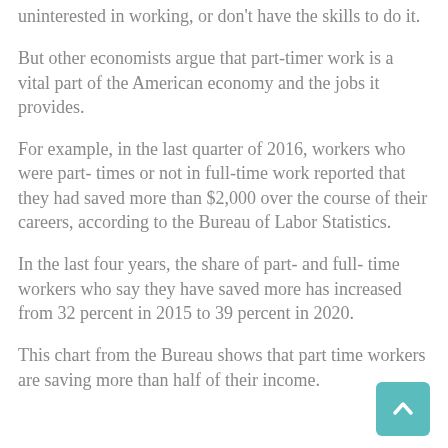uninterested in working, or don't have the skills to do it.
But other economists argue that part-timer work is a vital part of the American economy and the jobs it provides.
For example, in the last quarter of 2016, workers who were part- times or not in full-time work reported that they had saved more than $2,000 over the course of their careers, according to the Bureau of Labor Statistics.
In the last four years, the share of part- and full- time workers who say they have saved more has increased from 32 percent in 2015 to 39 percent in 2020.
This chart from the Bureau shows that part time workers are saving more than half of their income.